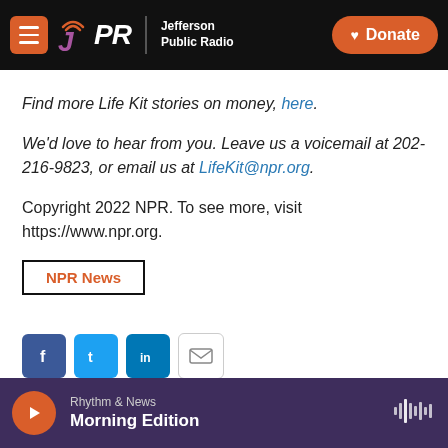JPR Jefferson Public Radio | Donate
Find more Life Kit stories on money, here.
We'd love to hear from you. Leave us a voicemail at 202-216-9823, or email us at LifeKit@npr.org.
Copyright 2022 NPR. To see more, visit https://www.npr.org.
NPR News
[Figure (infographic): Social sharing icons: Facebook, Twitter, LinkedIn, Email]
Rhythm & News / Morning Edition — player bar